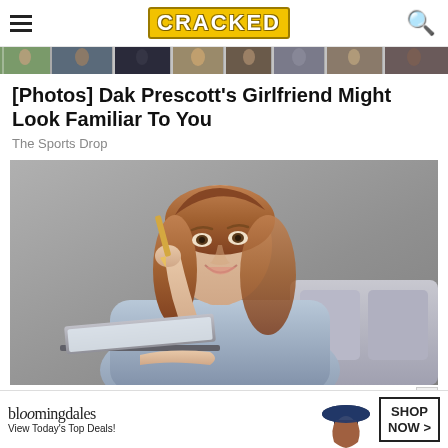CRACKED
[Figure (photo): Thumbnail strip of multiple small photos at the top of the page]
[Photos] Dak Prescott's Girlfriend Might Look Familiar To You
The Sports Drop
[Figure (photo): Young woman with auburn hair, smiling, holding a pencil, sitting in front of a laptop, wearing a light blue long-sleeve top, with gray sofa and concrete wall in background]
[Figure (photo): Bloomingdale's advertisement banner: 'bloomingdales View Today's Top Deals! SHOP NOW >']